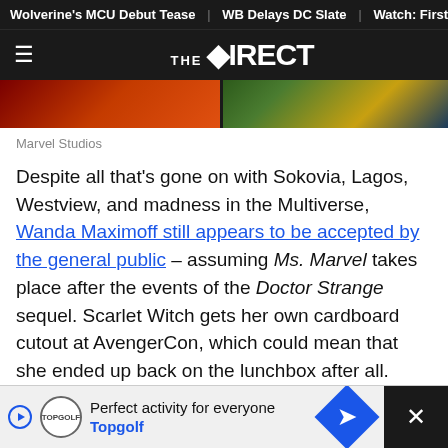Wolverine's MCU Debut Tease | WB Delays DC Slate | Watch: First
THE DIRECT
[Figure (photo): Partial view of two Marvel Studios images side by side — one showing red/orange tones, the other showing green/yellow tones]
Marvel Studios
Despite all that's gone on with Sokovia, Lagos, Westview, and madness in the Multiverse, Wanda Maximoff still appears to be accepted by the general public – assuming Ms. Marvel takes place after the events of the Doctor Strange sequel. Scarlet Witch gets her own cardboard cutout at AvengerCon, which could mean that she ended up back on the lunchbox after all.
[Figure (other): Advertisement bar: Topgolf - Perfect activity for everyone, with Topgolf logo and navigation arrow icon]